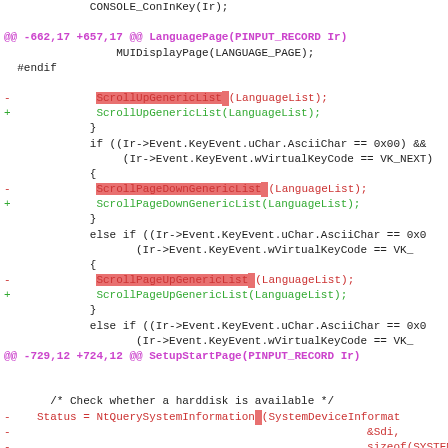[Figure (screenshot): A code diff screenshot showing changes in C source code for a Windows setup application, highlighting ScrollUpGenericList, ScrollPageDownGenericList, ScrollPageUpGenericList function calls and NtQuerySystemInformation calls, with removed lines in red and added lines in green, and diff hunk headers in magenta.]